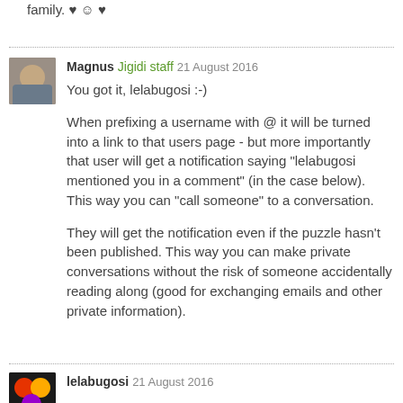family. ♥ ☺ ♥
Magnus Jigidi staff 21 August 2016
You got it, lelabugosi :-)

When prefixing a username with @ it will be turned into a link to that users page - but more importantly that user will get a notification saying "lelabugosi mentioned you in a comment" (in the case below). This way you can "call someone" to a conversation.

They will get the notification even if the puzzle hasn't been published. This way you can make private conversations without the risk of someone accidentally reading along (good for exchanging emails and other private information).
lelabugosi 21 August 2016